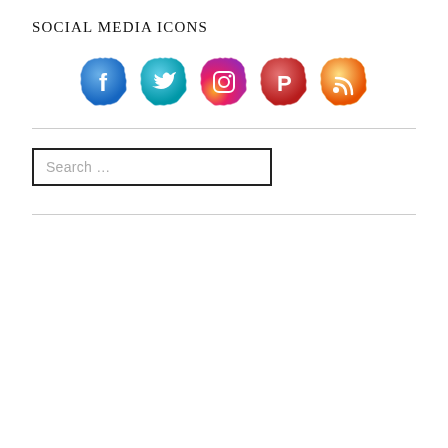SOCIAL MEDIA ICONS
[Figure (illustration): Five social media icons in a row: Facebook (blue), Twitter (teal/blue), Instagram (pink/orange gradient), Pinterest (red), RSS (orange/yellow), each with a decorative torn-paper circular badge style.]
Search ...